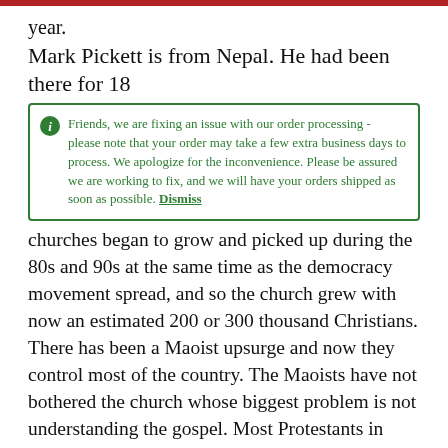year.
Mark Pickett is from Nepal. He had been there for 18
Friends, we are fixing an issue with our order processing - please note that your order may take a few extra business days to process. We apologize for the inconvenience. Please be assured we are working to fix, and we will have your orders shipped as soon as possible. Dismiss
churches began to grow and picked up during the 80s and 90s at the same time as the democracy movement spread, and so the church grew with now an estimated 200 or 300 thousand Christians. There has been a Maoist upsurge and now they control most of the country. The Maoists have not bothered the church whose biggest problem is not understanding the gospel. Most Protestants in Nepal are Pelagian – you do this and this and this and then you become a Christian.. How to understand the gospel in the Nepalese church is its greatest problem.
John Gibbons of Mongolia was reading Romans 15:20